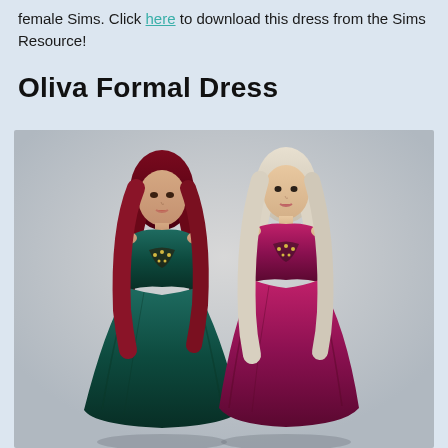female Sims. Click here to download this dress from the Sims Resource!
Oliva Formal Dress
[Figure (illustration): Two female Sims characters wearing formal ball gowns. Left Sim has long dark red hair and wears a teal/dark green strapless gown with embellished bodice. Right Sim has long platinum blonde hair and wears a magenta/deep pink strapless gown with embellished bodice. Both wear pendant necklaces. Background is light grey gradient.]